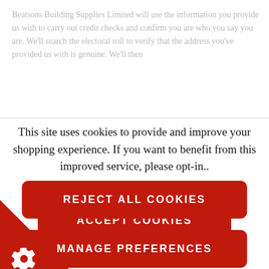Beatsons Building Supplies Limited will use the information you provide us with to carry out credit checks and confirm you are who you say you are. We'll search the electoral roll to verify that the address you've provided us with is genuine. We'll then
This site uses cookies to provide and improve your shopping experience. If you want to benefit from this improved service, please opt-in.. Cookies Page.
ACCEPT COOKIES
REJECT ALL COOKIES
MANAGE PREFERENCES
[Figure (illustration): Red triangle in the bottom-left corner with a white gear/settings icon]